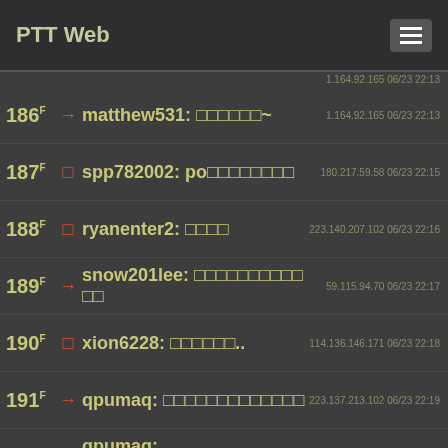PTT Web
1.164.92.165 06/23 22:13
186 → matthew531: □□□□□□~ 1.164.92.165 06/23 22:13
187 □ spp782002: po□□□□□□□□ 180.217.59.58 06/23 22:15
188 □ ryanenter2: □□□□ 223.140.207.102 06/23 22:16
189 → snow201lee: □□□□□□□□□□ □□ 59.115.94.70 06/23 22:17
190 □ xion6228: □□□□□□.. 114.136.146.171 06/23 22:18
191 → qpumaq: □□□□□□□□□□□□□ 223.137.213.102 06/23 22:19
192 → qpumaq: 1.□□□□□□□□□□□□□□□+ 223.137.213.102 06/23 22:19
193 → qpumaq: □□□□□□□□ 223.137.213.102 06/23 22:19
194 → qpumaq: 2.□□□□□□□□□□□□□□□ 223.137.213.102 06/23 22:19